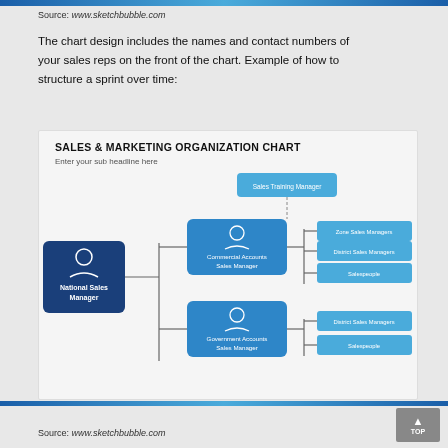Source: www.sketchbubble.com
The chart design includes the names and contact numbers of your sales reps on the front of the chart. Example of how to structure a sprint over time:
[Figure (organizational-chart): Sales & Marketing Organization Chart showing National Sales Manager at top left, branching to Commercial Accounts Sales Manager and Government Accounts Sales Manager, each of which branches to Zone Sales Managers (commercial only), District Sales Managers, and Salespeople. A Sales Training Manager box at top connects with dashed lines.]
Source: www.sketchbubble.com